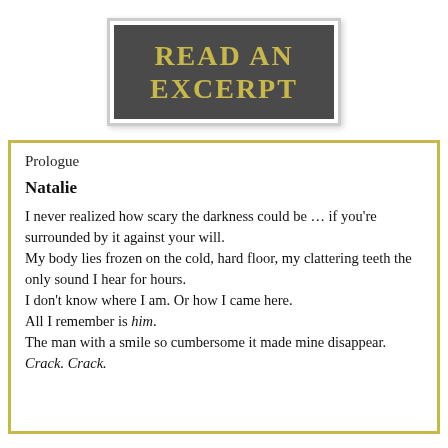READ AN EXCERPT
Prologue
Natalie
I never realized how scary the darkness could be … if you're surrounded by it against your will.
My body lies frozen on the cold, hard floor, my clattering teeth the only sound I hear for hours.
I don't know where I am. Or how I came here.
All I remember is him.
The man with a smile so cumbersome it made mine disappear.
Crack. Crack.